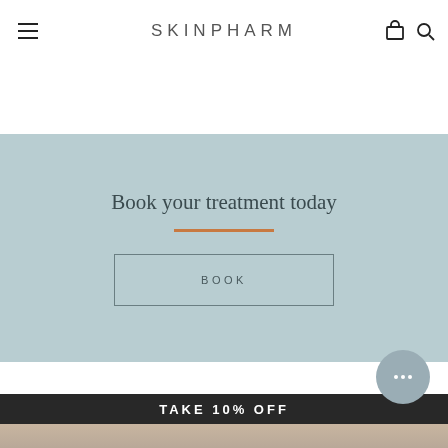SKINPHARM
Book your treatment today
BOOK
TAKE 10% OFF